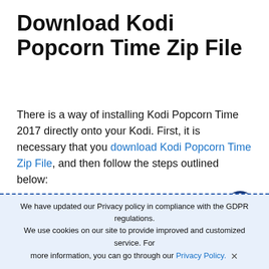Download Kodi Popcorn Time Zip File
There is a way of installing Kodi Popcorn Time 2017 directly onto your Kodi. First, it is necessary that you download Kodi Popcorn Time Zip File, and then follow the steps outlined below:
1. Launch Kodi > Tap on Add-ons menu > Go to Package Installer icon on top-left corner > Click on Install from Zip File.
We have updated our Privacy policy in compliance with the GDPR regulations. We use cookies on our site to provide improved and customized service. For more information, you can go through our Privacy Policy. ✕